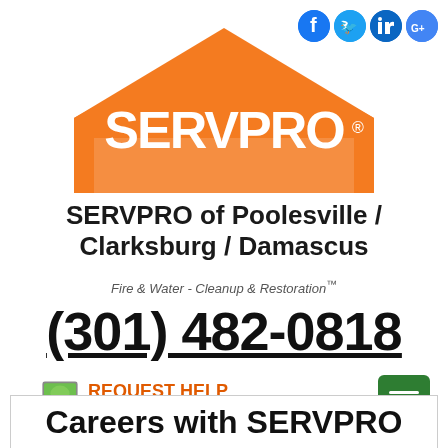[Figure (logo): SERVPRO logo with orange house/roof shape and white SERVPRO text]
SERVPRO of Poolesville / Clarksburg / Damascus
Fire & Water - Cleanup & Restoration™
(301) 482-0818
[Figure (illustration): Computer monitor icon next to REQUEST HELP ONLINE text in orange, and green menu button]
Careers with SERVPRO